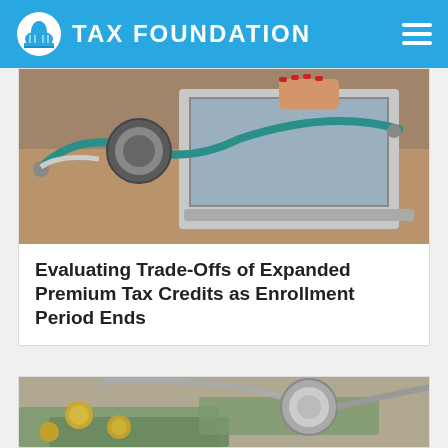TAX FOUNDATION
[Figure (photo): Photo of stethoscope and laptop on a desk, person with red nails typing]
Evaluating Trade-Offs of Expanded Premium Tax Credits as Enrollment Period Ends
[Figure (photo): Photo of stethoscope resting on US dollar bills and coins]